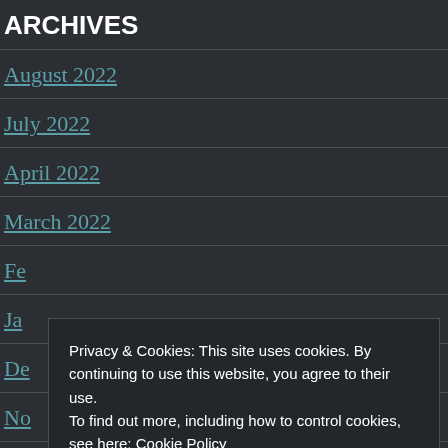ARCHIVES
August 2022
July 2022
April 2022
March 2022
Fe[bruary 2022]
Ja[nuary 2022]
De[cember 2021]
No[vember 2021]
October 2021
Privacy & Cookies: This site uses cookies. By continuing to use this website, you agree to their use. To find out more, including how to control cookies, see here: Cookie Policy
Close and accept